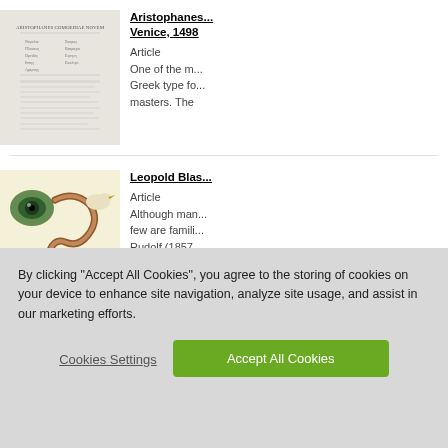[Figure (photo): Thumbnail of Aristophanes page, Venice 1498 — parchment-colored with printed Greek text columns]
Aristophanes... Venice, 1498
Article
One of the m... Greek type fo... masters. The
[Figure (photo): Thumbnail of Leopold Blas... article — illustrated image with eye-like shape, snake/eel, and bird on yellowish background]
Leopold Blas...
Article
Although mar... few are famili... Rudolf (1857-
By clicking “Accept All Cookies”, you agree to the storing of cookies on your device to enhance site navigation, analyze site usage, and assist in our marketing efforts.
Cookies Settings
Accept All Cookies